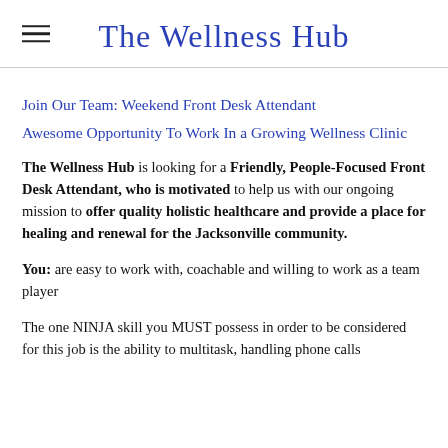The Wellness Hub
Join Our Team: Weekend Front Desk Attendant
Awesome Opportunity To Work In a Growing Wellness Clinic
The Wellness Hub is looking for a Friendly, People-Focused Front Desk Attendant, who is motivated to help us with our ongoing mission to offer quality holistic healthcare and provide a place for healing and renewal for the Jacksonville community.
You: are easy to work with, coachable and willing to work as a team player
The one NINJA skill you MUST possess in order to be considered for this job is the ability to multitask, handling phone calls...